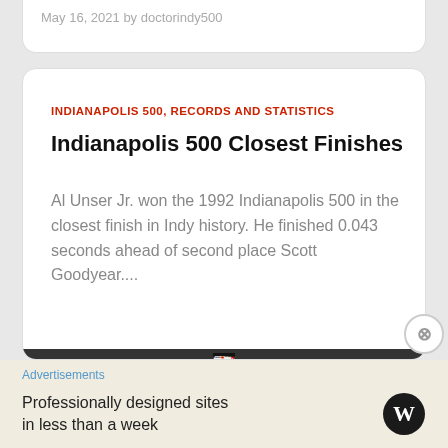May 16, 2021 by doctorindy500
INDIANAPOLIS 500, RECORDS AND STATISTICS
Indianapolis 500 Closest Finishes
Al Unser Jr. won the 1992 Indianapolis 500 in the closest finish in Indy history. He finished 0.043 seconds ahead of second place Scott Goodyear....
[Figure (photo): Close-up photo of an Indy racing car with Marlboro and Valvoline sponsorship logos, number 3, driven by Al Unser Jr.]
Advertisements
Professionally designed sites in less than a week